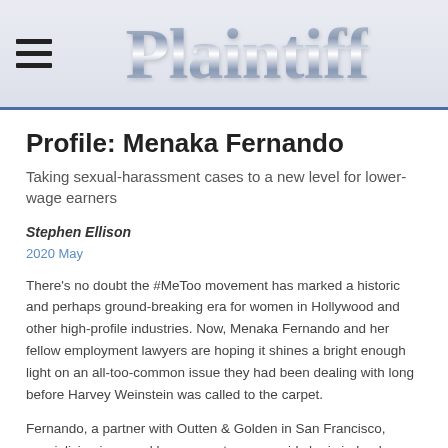Plaintiff
Profile: Menaka Fernando
Taking sexual-harassment cases to a new level for lower-wage earners
Stephen Ellison
2020 May
There's no doubt the #MeToo movement has marked a historic and perhaps ground-breaking era for women in Hollywood and other high-profile industries. Now, Menaka Fernando and her fellow employment lawyers are hoping it shines a bright enough light on an all-too-common issue they had been dealing with long before Harvey Weinstein was called to the carpet.
Fernando, a partner with Outten & Golden in San Francisco, specializing in sexual harassment cases, said she is indeed seeing her cases